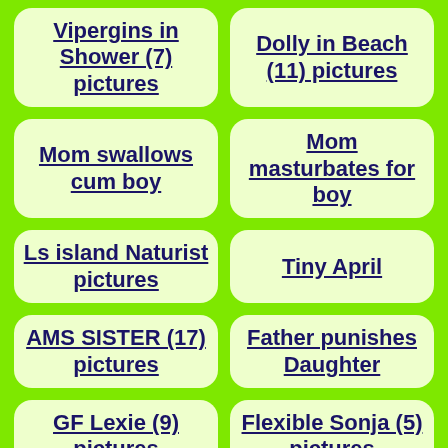Vipergins in Shower (7) pictures
Dolly in Beach (11) pictures
Mom swallows cum boy
Mom masturbates for boy
Ls island Naturist pictures
Tiny April
AMS SISTER (17) pictures
Father punishes Daughter
GF Lexie (9) pictures
Flexible Sonja (5) pictures